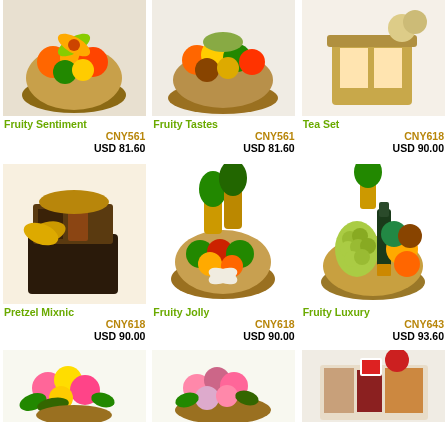[Figure (photo): Fruit basket with colorful bow - Fruity Sentiment]
Fruity Sentiment
CNY561
USD 81.60
[Figure (photo): Wicker basket filled with assorted fruits - Fruity Tastes]
Fruity Tastes
CNY561
USD 81.60
[Figure (photo): Tea set gift basket - Tea Set]
Tea Set
CNY618
USD 90.00
[Figure (photo): Dark gift basket with snacks and wine - Pretzel Mixnic]
Pretzel Mixnic
CNY618
USD 90.00
[Figure (photo): Wicker basket with pineapples and fruits - Fruity Jolly]
Fruity Jolly
CNY618
USD 90.00
[Figure (photo): Fruit basket with grapes and wine bottle - Fruity Luxury]
Fruity Luxury
CNY643
USD 93.60
[Figure (photo): Flower arrangement basket]
[Figure (photo): Flower basket arrangement]
[Figure (photo): Gift basket with snacks and gourmet items]